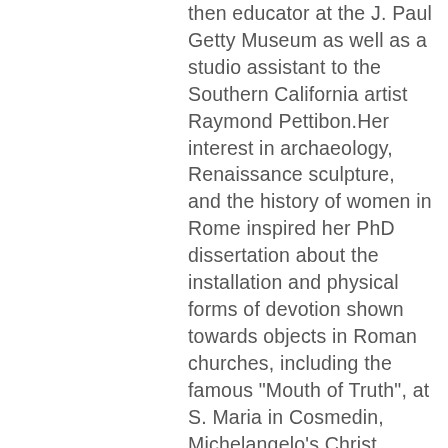then educator at the J. Paul Getty Museum as well as a studio assistant to the Southern California artist Raymond Pettibon.Her interest in archaeology, Renaissance sculpture, and the history of women in Rome inspired her PhD dissertation about the installation and physical forms of devotion shown towards objects in Roman churches, including the famous "Mouth of Truth", at S. Maria in Cosmedin, Michelangelo's Christ sculpture in S. Maria sopra Minerva, and the bronze S. Peter statue in S. Peter's Basilica. Linda received fellowships to support